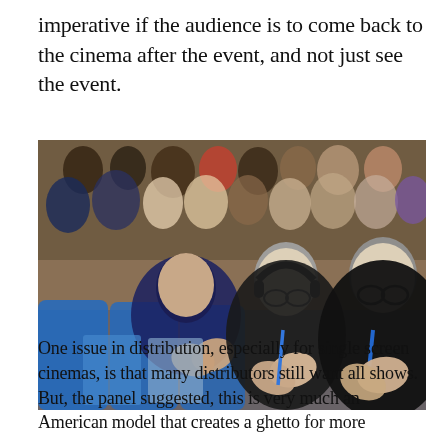imperative if the audience is to come back to the cinema after the event, and not just see the event.
[Figure (photo): Audience members seated in blue chairs applauding at what appears to be a conference or screening event. Several people in the foreground are clapping, including a woman with dark curly hair and two older men wearing glasses, one with headphones. A large crowd is visible in the background.]
One issue in distribution, especially for single screen cinemas, is that many distributors still want all shows. But, the panel suggested, this is very much an American model that creates a ghetto for more